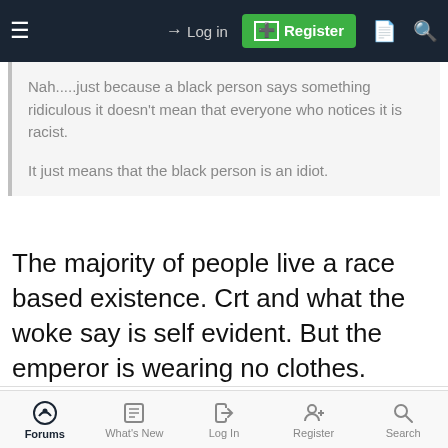Log in | Register
Nah.....just because a black person says something ridiculous it doesn't mean that everyone who notices it is racist.

It just means that the black person is an idiot.
The majority of people live a race based existence. Crt and what the woke say is self evident. But the emperor is wearing no clothes.
mudwhistle
Diamond Member | Gold Supporting Member
Forums | What's New | Log In | Register | Search